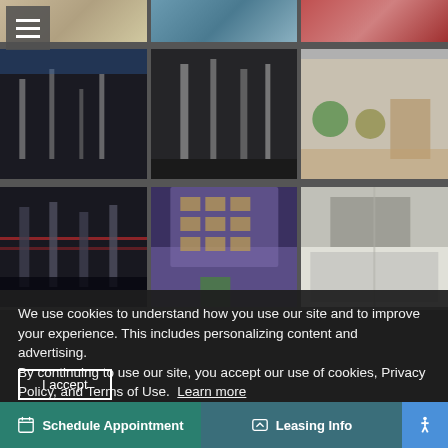[Figure (photo): Grid of 9 apartment/gym photos in 3x3 layout with partial first row]
We use cookies to understand how you use our site and to improve your experience. This includes personalizing content and advertising.
By continuing to use our site, you accept our use of cookies, Privacy Policy, and Terms of Use. Learn more
I accept
Schedule Appointment
Leasing Info